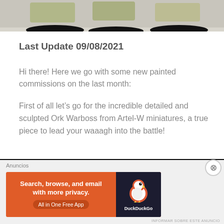[Figure (photo): Top portion of painted miniature figures on black bases, white/light background, partially cropped]
Last Update 09/08/2021
Hi there! Here we go with some new painted commissions on the last month:
First of all let’s go for the incredible detailed and sculpted Ork Warboss from Artel-W miniatures, a true piece to lead your waaagh into the battle!
[Figure (photo): Painted Ork Warboss miniature from Artel-W, shown against dark/black background, green and yellow coloring visible]
[Figure (other): DuckDuckGo advertisement banner: orange background with text 'Search, browse, and email with more privacy. All in One Free App', dark background with DuckDuckGo duck logo on right side]